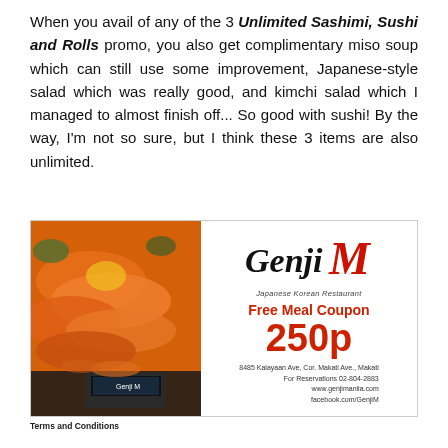When you avail of any of the 3 Unlimited Sashimi, Sushi and Rolls promo, you also get complimentary miso soup which can still use some improvement, Japanese-style salad which was really good, and kimchi salad which I managed to almost finish off... So good with sushi! By the way, I'm not so sure, but I think these 3 items are also unlimited.
[Figure (other): Genji M Japanese Korean Restaurant Free Meal Coupon for 250p. Left side shows food photos (sashimi, sushi rolls, restaurant exterior). Right side has Genji M logo, subtitle 'Japanese Korean Restaurant', text 'Free Meal Coupon', large '250p', and address details: 8485 Kalayaan Ave, Cor. Makati Ave., Makati. For Reservations 02-804-2883. www.genjimanila.com. facebook.com/GenjiM]
Terms and Conditions